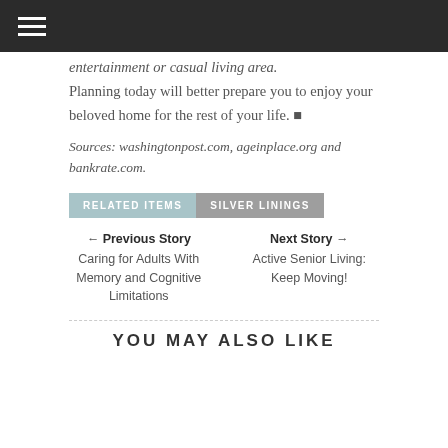☰
entertainment or casual living area. Planning today will better prepare you to enjoy your beloved home for the rest of your life. ■
Sources: washingtonpost.com, ageinplace.org and bankrate.com.
RELATED ITEMS   SILVER LININGS
← Previous Story
Caring for Adults With Memory and Cognitive Limitations
Next Story →
Active Senior Living: Keep Moving!
YOU MAY ALSO LIKE